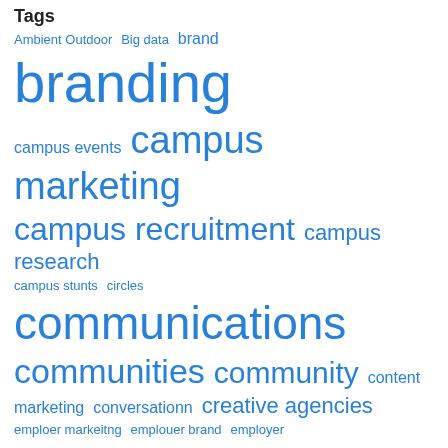Tags
Ambient Outdoor Big data brand branding campus events campus marketing campus recruitment campus research campus stunts circles communications communities community content marketing conversationn creative agencies emploer markeitng emplouer brand employer employer brand employer branding employer marketing employer reputaion employer